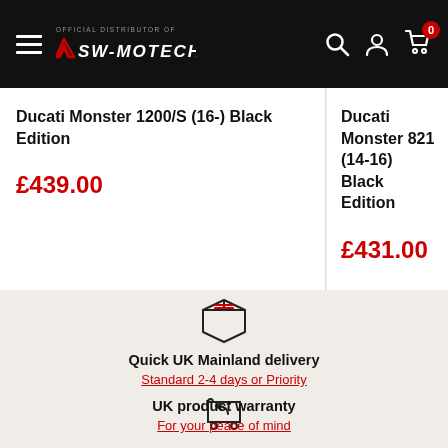SW-MOTECH official distributor — navigation bar with hamburger menu, logo, search, account, and cart (0) icons
Ducati Monster 1200/S (16-) Black Edition
£439.00
Ducati Monster 821 (14-16) Black Edition
£431.00
[Figure (illustration): Box/package delivery icon]
Quick UK Mainland delivery
Standard 2-4 days or Priority
[Figure (illustration): Shopping cart with return arrow icon]
UK product warranty
For your peace of mind